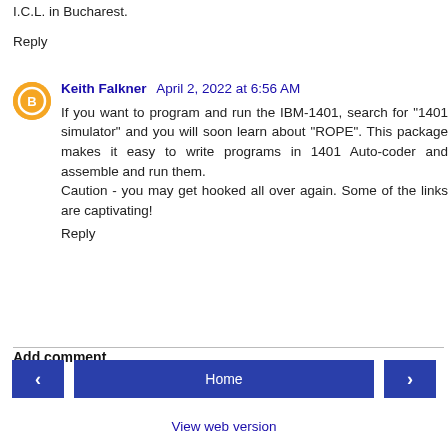I.C.L. in Bucharest.
Reply
Keith Falkner  April 2, 2022 at 6:56 AM
If you want to program and run the IBM-1401, search for "1401 simulator" and you will soon learn about "ROPE". This package makes it easy to write programs in 1401 Auto-coder and assemble and run them.
Caution - you may get hooked all over again. Some of the links are captivating!
Reply
Add comment
< Home >
View web version